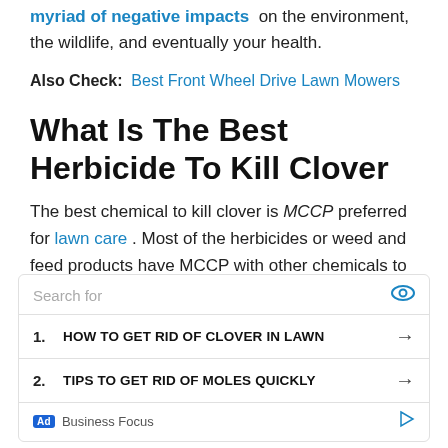myriad of negative impacts on the environment, the wildlife, and eventually your health.
Also Check: Best Front Wheel Drive Lawn Mowers
What Is The Best Herbicide To Kill Clover
The best chemical to kill clover is MCCP preferred for lawn care . Most of the herbicides or weed and feed products have MCCP with other chemicals to kill all the weeds in the lawn and make it healthy and beautiful. The two
[Figure (screenshot): Ad search widget with search bar, two list items (1. HOW TO GET RID OF CLOVER IN LAWN, 2. TIPS TO GET RID OF MOLES QUICKLY), and Business Focus footer]